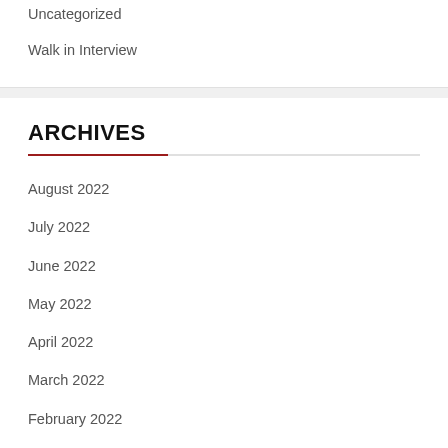Uncategorized
Walk in Interview
ARCHIVES
August 2022
July 2022
June 2022
May 2022
April 2022
March 2022
February 2022
January 2022
September 2021